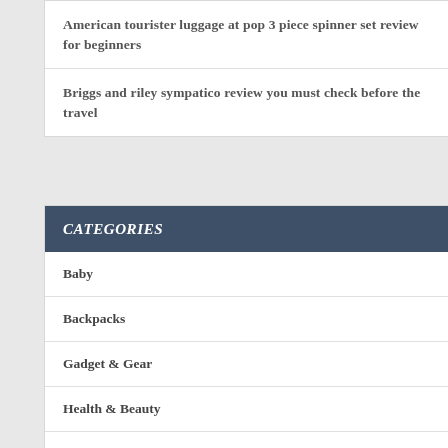American tourister luggage at pop 3 piece spinner set review for beginners
Briggs and riley sympatico review you must check before the travel
CATEGORIES
Baby
Backpacks
Gadget & Gear
Health & Beauty